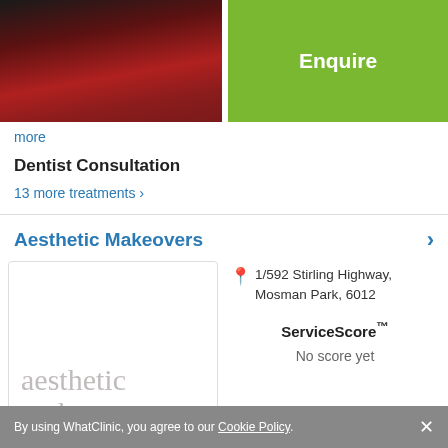[Figure (photo): Partial photo of a person in red clothing with dark hair, cropped at top]
Enquire
more
Dentist Consultation
13 more treatments ›
Aesthetic Makeovers
[Figure (logo): Aesthetic Makeovers clinic logo text in grey serif font]
1/592 Stirling Highway, Mosman Park, 6012
ServiceScore™
No score yet
By using WhatClinic, you agree to our Cookie Policy. ×